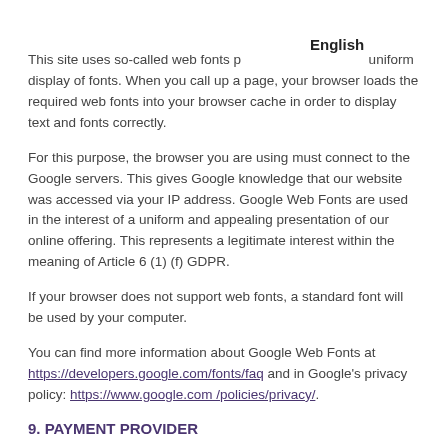English
This site uses so-called web fonts p uniform display of fonts. When you call up a page, your browser loads the required web fonts into your browser cache in order to display text and fonts correctly.
For this purpose, the browser you are using must connect to the Google servers. This gives Google knowledge that our website was accessed via your IP address. Google Web Fonts are used in the interest of a uniform and appealing presentation of our online offering. This represents a legitimate interest within the meaning of Article 6 (1) (f) GDPR.
If your browser does not support web fonts, a standard font will be used by your computer.
You can find more information about Google Web Fonts at https://developers.google.com/fonts/faq and in Google's privacy policy: https://www.google.com /policies/privacy/.
9. PAYMENT PROVIDER